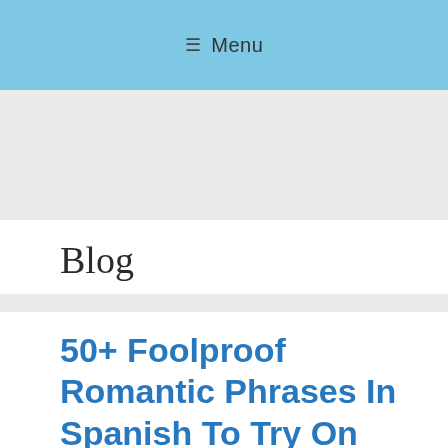≡ Menu
[Figure (other): Gray advertisement banner placeholder]
Blog
50+ Foolproof Romantic Phrases In Spanish To Try On Your Loved One